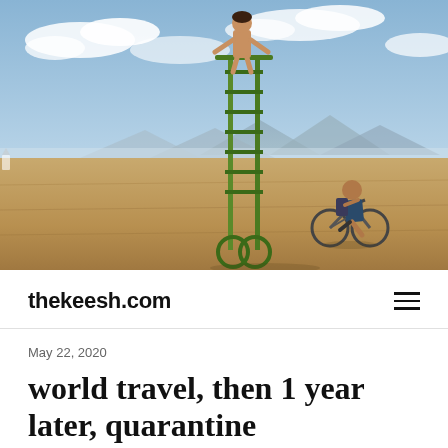[Figure (photo): Outdoor desert scene with people riding bicycles and a tall mechanical structure, sandy flat landscape with mountains in background under a blue sky with clouds, appearing to be from Burning Man festival]
thekeesh.com
May 22, 2020
world travel, then 1 year later, quarantine